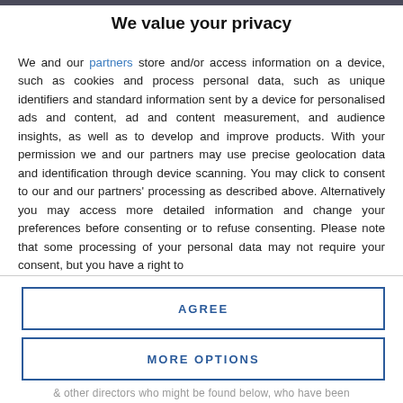We value your privacy
We and our partners store and/or access information on a device, such as cookies and process personal data, such as unique identifiers and standard information sent by a device for personalised ads and content, ad and content measurement, and audience insights, as well as to develop and improve products. With your permission we and our partners may use precise geolocation data and identification through device scanning. You may click to consent to our and our partners' processing as described above. Alternatively you may access more detailed information and change your preferences before consenting or to refuse consenting. Please note that some processing of your personal data may not require your consent, but you have a right to
AGREE
MORE OPTIONS
& other directors who might be found below, who have been